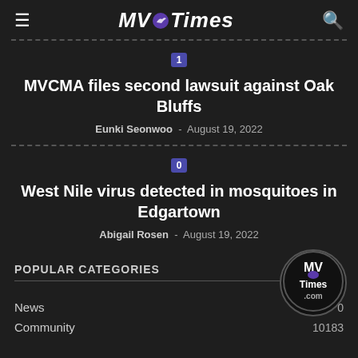MV Times
1 - MVCMA files second lawsuit against Oak Bluffs - Eunki Seonwoo - August 19, 2022
0 - West Nile virus detected in mosquitoes in Edgartown - Abigail Rosen - August 19, 2022
POPULAR CATEGORIES
News - 0
Community - 10183